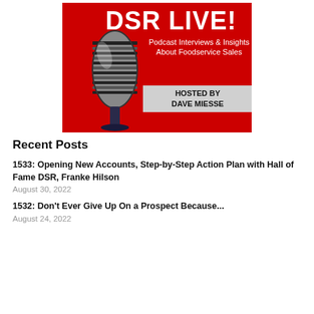[Figure (illustration): DSR LIVE! podcast logo — red background with a chrome microphone on the left, bold white text 'DSR LIVE!' at the top, white text 'Podcast Interviews & Insights About Foodservice Sales', and a grey banner reading 'HOSTED BY DAVE MIESSE']
Recent Posts
1533: Opening New Accounts, Step-by-Step Action Plan with Hall of Fame DSR, Franke Hilson
August 30, 2022
1532: Don't Ever Give Up On a Prospect Because...
August 24, 2022